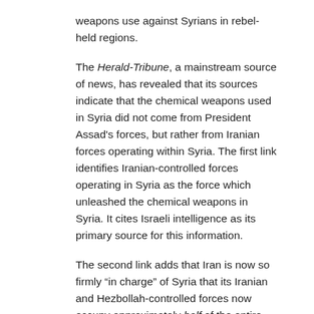weapons use against Syrians in rebel-held regions.
The Herald-Tribune, a mainstream source of news, has revealed that its sources indicate that the chemical weapons used in Syria did not come from President Assad's forces, but rather from Iranian forces operating within Syria. The first link identifies Iranian-controlled forces operating in Syria as the force which unleashed the chemical weapons in Syria. It cites Israeli intelligence as its primary source for this information.
The second link adds that Iran is now so firmly “in charge” of Syria that its Iranian and Hezbollah-controlled forces now occupy approximately half of the entire nation of Syria.
If the assertions in these links are true, it radically changes the situation about what is happening in Syria. It would mean